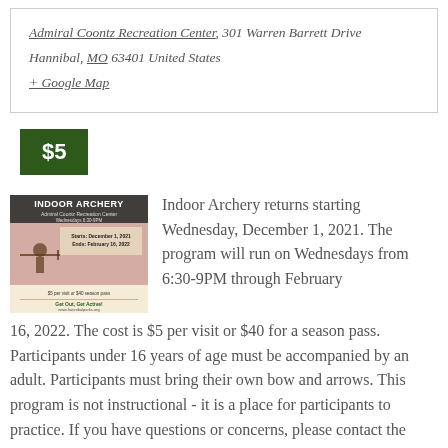Admiral Coontz Recreation Center, 301 Warren Barrett Drive Hannibal, MO 63401 United States
+ Google Map
$5
[Figure (illustration): Indoor Archery flyer image showing an archer silhouette, text reading INDOOR ARCHERY, Admiral Coontz Recreation Center details, dates December 1, 2021 through February 16, 2022]
Indoor Archery returns starting Wednesday, December 1, 2021. The program will run on Wednesdays from 6:30-9PM through February 16, 2022. The cost is $5 per visit or $40 for a season pass. Participants under 16 years of age must be accompanied by an adult. Participants must bring their own bow and arrows. This program is not instructional - it is a place for participants to practice. If you have questions or concerns, please contact the Parks & Recreation office at…